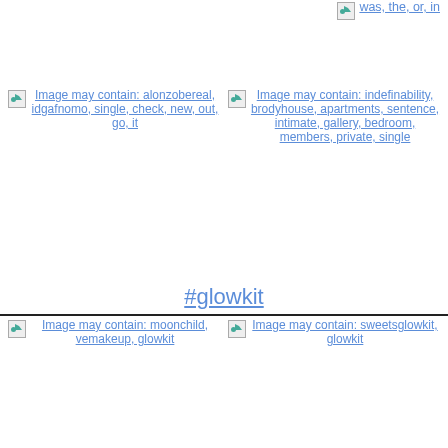[Figure (other): Broken image placeholder linking to: was, the, or, in]
[Figure (other): Broken image placeholder linking to: alonzobereal, idgafnomo, single, check, new, out, go, it]
[Figure (other): Broken image placeholder linking to: indefinability, brodyhouse, apartments, sentence, intimate, gallery, bedroom, members, private, single]
#glowkit
[Figure (other): Broken image placeholder linking to: moonchild, vemakeup, glowkit]
[Figure (other): Broken image placeholder linking to: sweetsglowkit, glowkit]